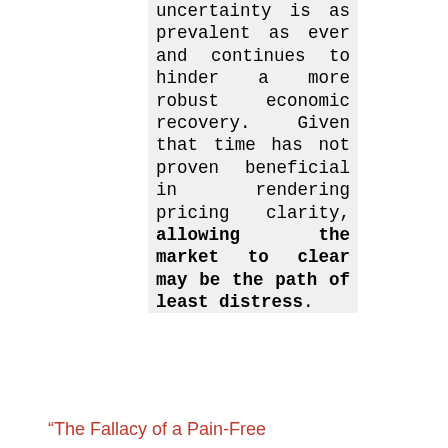uncertainty is as prevalent as ever and continues to hinder a more robust economic recovery. Given that time has not proven beneficial in rendering pricing clarity, allowing the market to clear may be the path of least distress.
“The Fallacy of a Pain-Free